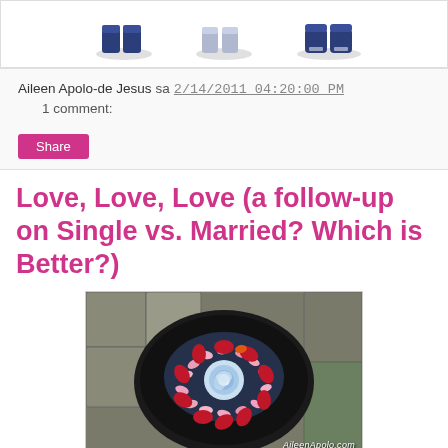[Figure (photo): Cartoon illustration of shoe pairs (partial, cropped at top)]
Aileen Apolo-de Jesus sa 2/14/2011 04:20:00 PM   1 comment:
Share
Love, Love, Love (a follow-up on Single vs. Married? Which is Better?)
[Figure (photo): Photo of a bowl of flower petals arranged in a circle with a blue rose in the center, watermarked AileenApolo.com]